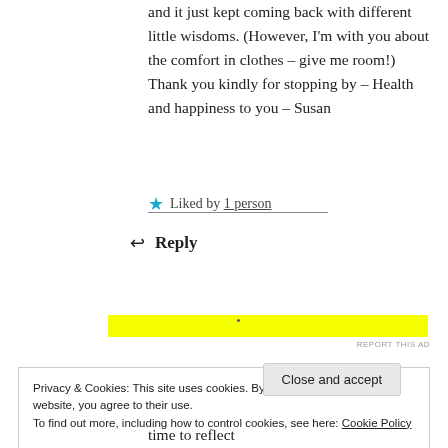and it just kept coming back with different little wisdoms. (However, I'm with you about the comfort in clothes – give me room!) Thank you kindly for stopping by – Health and happiness to you – Susan
Liked by 1 person
Reply
[Figure (other): Yellow advertisement banner with a dot in the center]
REPORT THIS AD
Privacy & Cookies: This site uses cookies. By continuing to use this website, you agree to their use. To find out more, including how to control cookies, see here: Cookie Policy
Close and accept
time to reflect